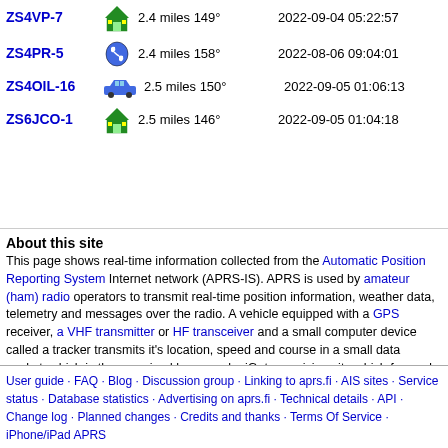ZS4VP-7  2.4 miles 149°  2022-09-04 05:22:57
ZS4PR-5  2.4 miles 158°  2022-08-06 09:04:01
ZS4OIL-16  2.5 miles 150°  2022-09-05 01:06:13
ZS6JCO-1  2.5 miles 146°  2022-09-05 01:04:18
About this site
This page shows real-time information collected from the Automatic Position Reporting System Internet network (APRS-IS). APRS is used by amateur (ham) radio operators to transmit real-time position information, weather data, telemetry and messages over the radio. A vehicle equipped with a GPS receiver, a VHF transmitter or HF transceiver and a small computer device called a tracker transmits it's location, speed and course in a small data packet, which is then received by a nearby iGate receiving site which forwards the packet on the Internet. Systems connected to the Internet can send information on the APRS-IS without a radio transmitter, or collect and display information transmitted anywhere in the world.
User guide · FAQ · Blog · Discussion group · Linking to aprs.fi · AIS sites · Service status · Database statistics · Advertising on aprs.fi · Technical details · API · Change log · Planned changes · Credits and thanks · Terms Of Service · iPhone/iPad APRS